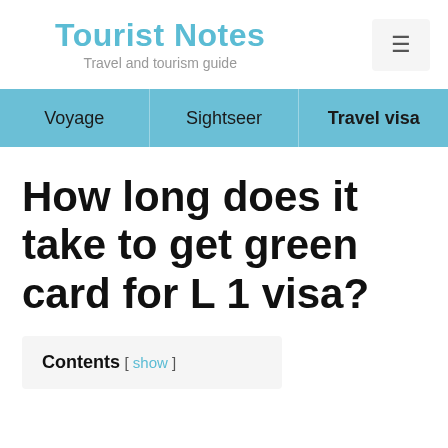Tourist Notes
Travel and tourism guide
Voyage | Sightseer | Travel visa
How long does it take to get green card for L 1 visa?
Contents [ show ]